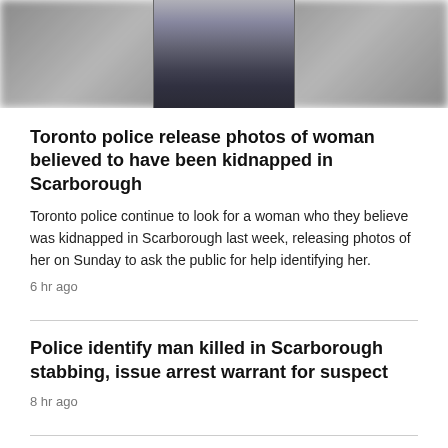[Figure (photo): A blurred photo showing the lower body of a woman walking, with legs and sneakers visible, blurred background of grass and fence.]
Toronto police release photos of woman believed to have been kidnapped in Scarborough
Toronto police continue to look for a woman who they believe was kidnapped in Scarborough last week, releasing photos of her on Sunday to ask the public for help identifying her.
6 hr ago
Police identify man killed in Scarborough stabbing, issue arrest warrant for suspect
8 hr ago
4-car crash in Toronto triggers residential gas